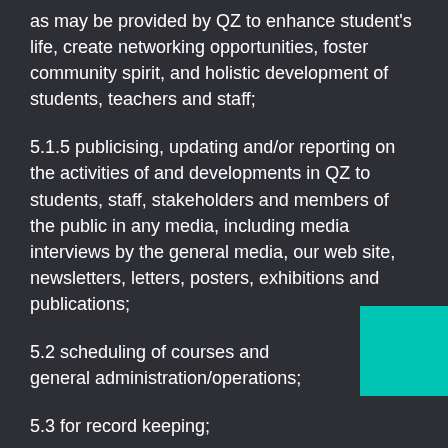as may be provided by QZ to enhance student's life, create networking opportunities, foster community spirit, and holistic development of students, teachers and staff;
5.1.5 publicising, updating and/or reporting on the activities of and developments in QZ to students, staff, stakeholders and members of the public in any media, including media interviews by the general media, our web site, newsletters, letters, posters, exhibitions and publications;
5.2 scheduling of courses and general administration/operations;
5.3 for record keeping;